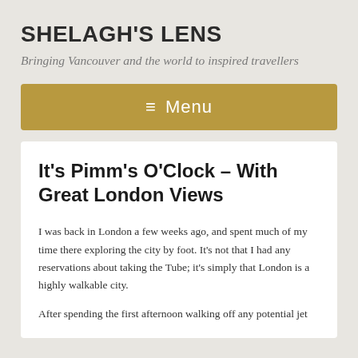SHELAGH'S LENS
Bringing Vancouver and the world to inspired travellers
≡ Menu
It's Pimm's O'Clock – With Great London Views
I was back in London a few weeks ago, and spent much of my time there exploring the city by foot. It's not that I had any reservations about taking the Tube; it's simply that London is a highly walkable city.
After spending the first afternoon walking off any potential jet